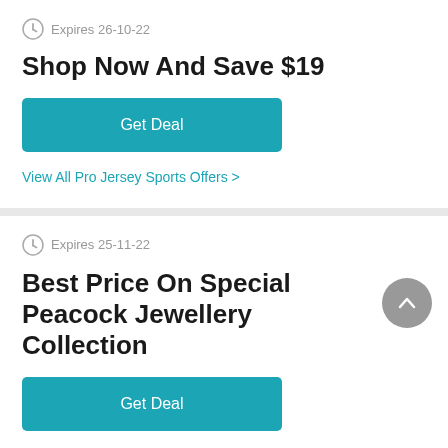Expires 26-10-22
Shop Now And Save $19
Get Deal
View All Pro Jersey Sports Offers >
Expires 25-11-22
Best Price On Special Peacock Jewellery Collection
Get Deal